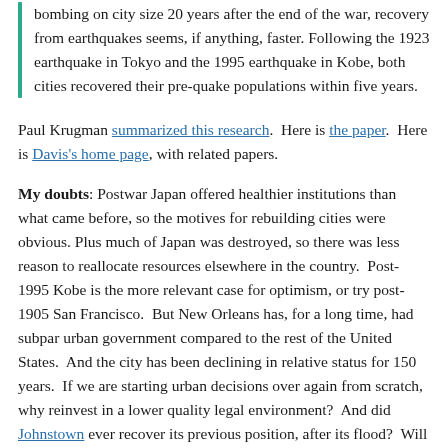bombing on city size 20 years after the end of the war, recovery from earthquakes seems, if anything, faster. Following the 1923 earthquake in Tokyo and the 1995 earthquake in Kobe, both cities recovered their pre-quake populations within five years.
Paul Krugman summarized this research. Here is the paper. Here is Davis's home page, with related papers.
My doubts: Postwar Japan offered healthier institutions than what came before, so the motives for rebuilding cities were obvious. Plus much of Japan was destroyed, so there was less reason to reallocate resources elsewhere in the country. Post-1995 Kobe is the more relevant case for optimism, or try post-1905 San Francisco. But New Orleans has, for a long time, had subpar urban government compared to the rest of the United States. And the city has been declining in relative status for 150 years. If we are starting urban decisions over again from scratch, why reinvest in a lower quality legal environment? And did Johnstown ever recover its previous position, after its flood? Will New Orleans see